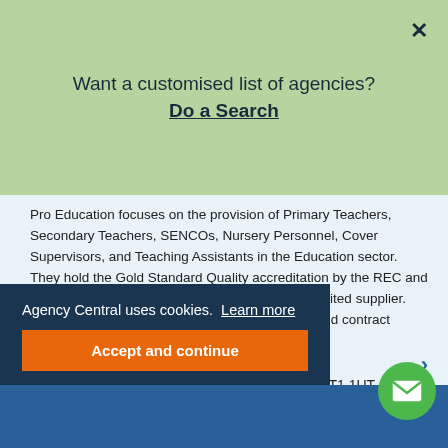Want a customised list of agencies? Do a Search
Pro Education focuses on the provision of Primary Teachers, Secondary Teachers, SENCOs, Nursery Personnel, Cover Supervisors, and Teaching Assistants in the Education sector. They hold the Gold Standard Quality accreditation by the REC and they are also a Crown Commercial Service accredited supplier. Pro Education works on permanent, temporary, and contract opportunities.
57 High West Street, Dorchester, Dorset, DT1 1UT
Display number
Agency Central uses cookies. Learn more
Accept and continue